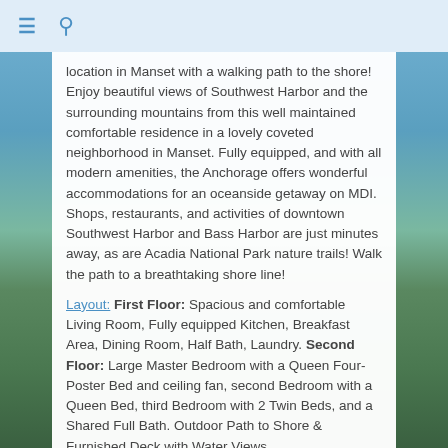≡ 🔍
[Figure (photo): Outdoor coastal/shore scene with water, mountains, and green landscape visible on sides of content box]
location in Manset with a walking path to the shore! Enjoy beautiful views of Southwest Harbor and the surrounding mountains from this well maintained comfortable residence in a lovely coveted neighborhood in Manset. Fully equipped, and with all modern amenities, the Anchorage offers wonderful accommodations for an oceanside getaway on MDI. Shops, restaurants, and activities of downtown Southwest Harbor and Bass Harbor are just minutes away, as are Acadia National Park nature trails! Walk the path to a breathtaking shore line!
Layout: First Floor: Spacious and comfortable Living Room, Fully equipped Kitchen, Breakfast Area, Dining Room, Half Bath, Laundry. Second Floor: Large Master Bedroom with a Queen Four-Poster Bed and ceiling fan, second Bedroom with a Queen Bed, third Bedroom with 2 Twin Beds, and a Shared Full Bath. Outdoor Path to Shore & Furnished Deck with Water Views.